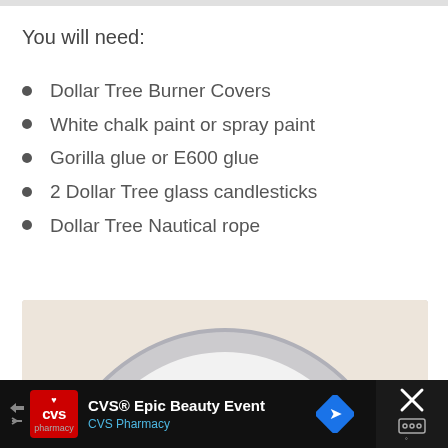You will need:
Dollar Tree Burner Covers
White chalk paint or spray paint
Gorilla glue or E600 glue
2 Dollar Tree glass candlesticks
Dollar Tree Nautical rope
[Figure (photo): Top-down view of a white-painted circular burner cover (plate) with a gray rim, sitting on a light beige/cream background.]
CVS® Epic Beauty Event CVS Pharmacy